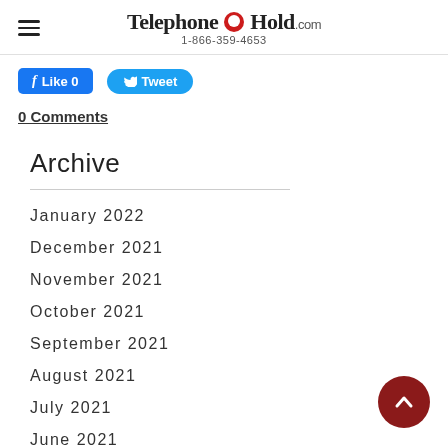TelephoneOnHold.com 1-866-359-4653
[Figure (screenshot): Facebook Like and Twitter Tweet social share buttons]
0 Comments
Archive
January 2022
December 2021
November 2021
October 2021
September 2021
August 2021
July 2021
June 2021